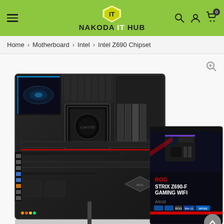Nakoda IT Hub - Navigation header with menu, logo, search, account, and cart icons
Home > Motherboard > Intel > Intel Z690 Chipset
[Figure (photo): ASUS ROG STRIX Z690-F GAMING WIFI motherboard shown alongside its retail box. The motherboard is black with RGB lighting elements and ROG design. The box shows the text ROG STRIX Z690-F GAMING WIFI with ASUS branding.]